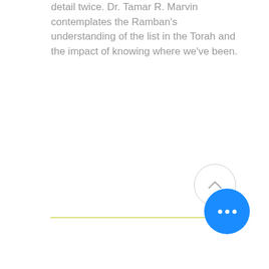detail twice. Dr. Tamar R. Marvin contemplates the Ramban's understanding of the list in the Torah and the impact of knowing where we've been.
[Figure (other): A circular up-arrow button with gray border on white background, and a blue circular more-options button with three white dots, positioned near a yellow-green horizontal divider line.]